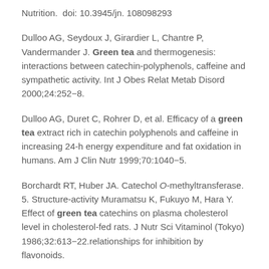Nutrition.  doi: 10.3945/jn. 108098293
Dulloo AG, Seydoux J, Girardier L, Chantre P, Vandermander J. Green tea and thermogenesis: interactions between catechin-polyphenols, caffeine and sympathetic activity. Int J Obes Relat Metab Disord 2000;24:252−8.
Dulloo AG, Duret C, Rohrer D, et al. Efficacy of a green tea extract rich in catechin polyphenols and caffeine in increasing 24-h energy expenditure and fat oxidation in humans. Am J Clin Nutr 1999;70:1040−5.
Borchardt RT, Huber JA. Catechol O-methyltransferase.  5. Structure-activity Muramatsu K, Fukuyo M, Hara Y. Effect of green tea catechins on plasma cholesterol level in cholesterol-fed rats. J Nutr Sci Vitaminol (Tokyo) 1986;32:613−22.relationships for inhibition by flavonoids.